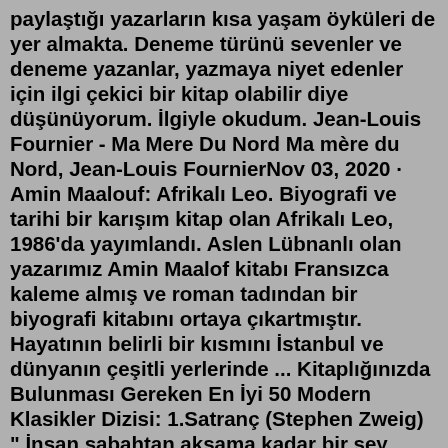paylaştığı yazarların kısa yaşam öyküleri de yer almakta. Deneme türünü sevenler ve deneme yazanlar, yazmaya niyet edenler için ilgi çekici bir kitap olabilir diye düşünüyorum. İlgiyle okudum. Jean-Louis Fournier - Ma Mere Du Nord Ma mère du Nord, Jean-Louis FournierNov 03, 2020 · Amin Maalouf: Afrikalı Leo. Biyografi ve tarihi bir karışım kitap olan Afrikalı Leo, 1986'da yayımlandı. Aslen Lübnanlı olan yazarımız Amin Maalof kitabı Fransızca kaleme almış ve roman tadından bir biyografi kitabını ortaya çıkartmıştır. Hayatının belirli bir kısmını İstanbul ve dünyanın çeşitli yerlerinde ... Kitaplığınızda Bulunması Gereken En İyi 50 Modern Klasikler Dizisi: 1.Satranç (Stephen Zweig) " İnsan sabahtan akşama kadar bir şey olmasını bekler ve hiçbir şey olmaz. Bekleyip durur insan. Hiçbir şey olmaz. İnsan bekler, bekler, bekler, şakakları zonklayana dek düşünür, …. Berke Adıgüzel 2 Ocak 2021. Kitap ...Nov 03, 2020 · Amin Maalouf: Afrikalı Leo. Biyografi ve tarihi bir karışım kitap olan Afrikalı Leo, 1986'da yayımlandı. Aslen